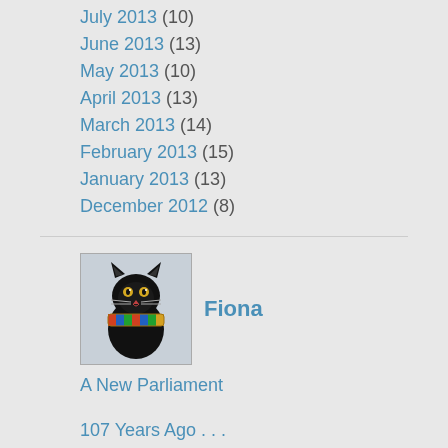July 2013 (10)
June 2013 (13)
May 2013 (10)
April 2013 (13)
March 2013 (14)
February 2013 (15)
January 2013 (13)
December 2012 (8)
[Figure (illustration): Egyptian cat avatar/profile image with colorful collar]
Fiona
A New Parliament
107 Years Ago . . .
Ukraine ...
Sexism is unacceptable